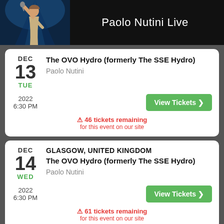Paolo Nutini Live
DEC 13 TUE — The OVO Hydro (formerly The SSE Hydro) — Paolo Nutini — 2022 6:30 PM — View Tickets — 46 tickets remaining for this event on our site
GLASGOW, UNITED KINGDOM — DEC 14 WED — The OVO Hydro (formerly The SSE Hydro) — Paolo Nutini — 2022 6:30 PM — View Tickets — 61 tickets remaining for this event on our site
GLASGOW, UNITED KINGDOM